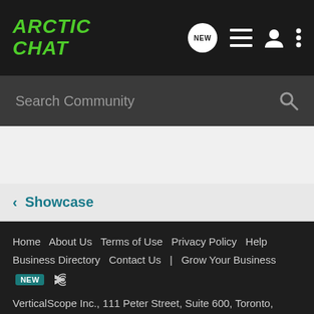ARCTIC CHAT
Search Community
< Showcase
Home   About Us   Terms of Use   Privacy Policy   Help   Business Directory   Contact Us   |   Grow Your Business  NEW  RSS
VerticalScope Inc., 111 Peter Street, Suite 600, Toronto, Ontario, M5V 2H1, Canada
The Fora platform includes forum software by XenForo
[Figure (logo): Fora logo with half-circle icon and BBB Accredited Business badge]